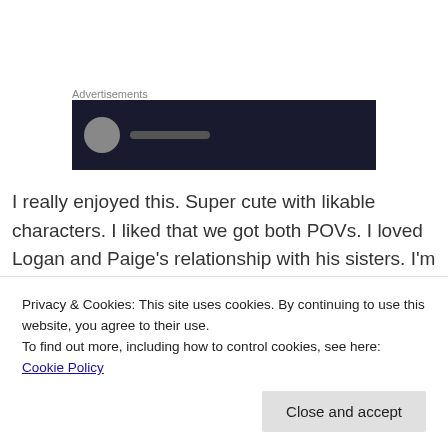Advertisements
[Figure (photo): Dark advertisement banner with a circular logo/icon and text]
I really enjoyed this. Super cute with likable characters. I liked that we got both POVs. I loved Logan and Paige's relationship with his sisters. I'm definitely going to read more from this author.
[Figure (photo): Book cover showing a romantic comedy — woman with blonde hair on left, man on right, teal background with cursive text 'a romantic comedy']
Privacy & Cookies: This site uses cookies. By continuing to use this website, you agree to their use.
To find out more, including how to control cookies, see here: Cookie Policy
Close and accept